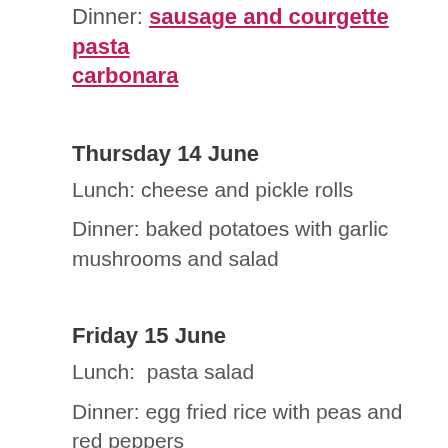Dinner: sausage and courgette pasta carbonara
Thursday 14 June
Lunch: cheese and pickle rolls
Dinner: baked potatoes with garlic mushrooms and salad
Friday 15 June
Lunch:  pasta salad
Dinner: egg fried rice with peas and red peppers
Saturday 16 June
Lunch: cheese and tomato on toast
Dinner: courgette and summer greens pie and